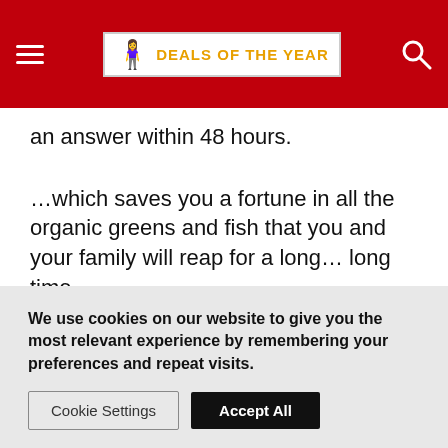DEALS OF THE YEAR
an answer within 48 hours.
…which saves you a fortune in all the organic greens and fish that you and your family will reap for a long… long time
“The next time you visit this site, you may not get the crazy deal I’m offering you now”
We use cookies on our website to give you the most relevant experience by remembering your preferences and repeat visits.